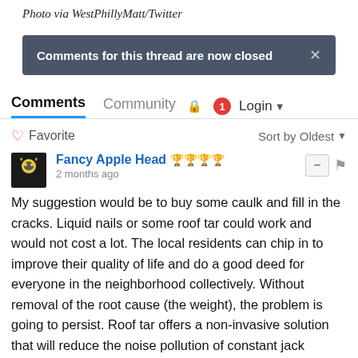Photo via WestPhillyMatt/Twitter
Comments for this thread are now closed
Comments  Community  🔒  1  Login ▾
♡ Favorite   Sort by Oldest ▾
Fancy Apple Head 🏆🏆🏆🏆
2 months ago
My suggestion would be to buy some caulk and fill in the cracks. Liquid nails or some roof tar could work and would not cost a lot. The local residents can chip in to improve their quality of life and do a good deed for everyone in the neighborhood collectively. Without removal of the root cause (the weight), the problem is going to persist. Roof tar offers a non-invasive solution that will reduce the noise pollution of constant jack hammering and